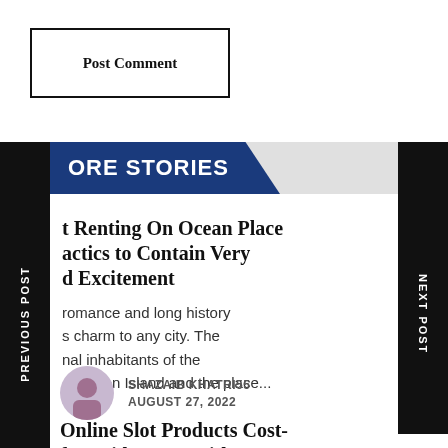Post Comment
MORE STORIES
PREVIOUS POST
NEXT POST
Renting On Ocean Place Tactics to Contain Very d Excitement
romance and long history s charm to any city. The nal inhabitants of the Absecon Island and the place...
SHAZAIB KHATRI55
AUGUST 27, 2022
Online Slot Products Cost-free Video game titles